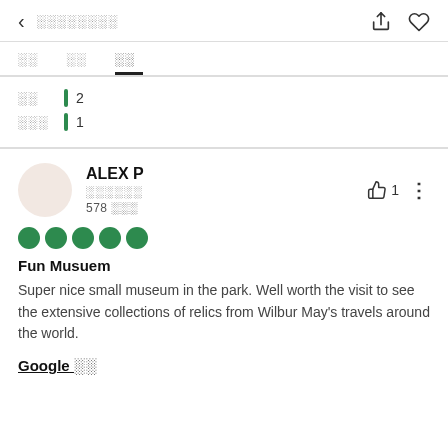< ░░░░░░░░
░░  ░░  ░░
░░ | 2
░░░ | 1
ALEX P
░░░░░░
578 ░░░
[Figure (other): 5 green circle rating dots]
Fun Musuem
Super nice small museum in the park. Well worth the visit to see the extensive collections of relics from Wilbur May's travels around the world.
Google ░░